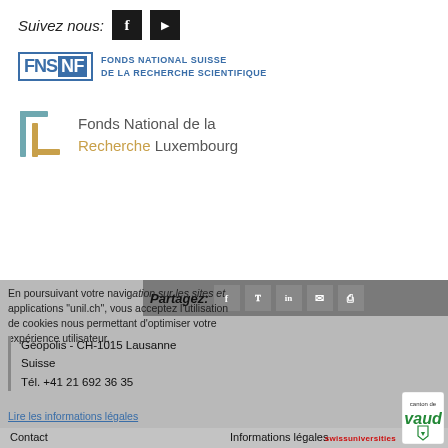Suivez nous:
[Figure (logo): FNS SNF - Fonds National Suisse de la Recherche Scientifique logo]
[Figure (logo): Fonds National de la Recherche Luxembourg logo]
En poursuivant votre navigation sur les sites et applications "unil.ch", vous acceptez l'utilisation de cookies nous permettant d'optimiser votre expérience utilisateur.
Partagez:
Géopolis - CH-1015 Lausanne
Suisse
Tél. +41 21 692 36 35
Lire les informations légales
Contact
Informations légales
Annuaires
Plan du site
Edition
[Figure (logo): Canton de Vaud logo]
swissuniversities